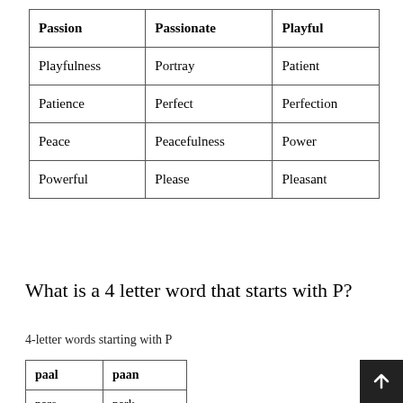| Passion | Passionate | Playful |
| --- | --- | --- |
| Playfulness | Portray | Patient |
| Patience | Perfect | Perfection |
| Peace | Peacefulness | Power |
| Powerful | Please | Pleasant |
What is a 4 letter word that starts with P?
4-letter words starting with P
| paal | paan |
| --- | --- |
| pare | park |